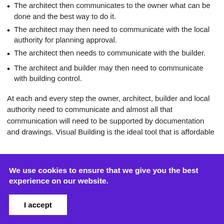The architect then communicates to the owner what can be done and the best way to do it.
The architect may then need to communicate with the local authority for planning approval.
The architect then needs to communicate with the builder.
The architect and builder may then need to communicate with building control.
At each and every step the owner, architect, builder and local authority need to communicate and almost all that communication will need to be supported by documentation and drawings. Visual Building is the ideal tool that is affordable
We use cookies to ensure that we give you the best experience on our website.
I accept